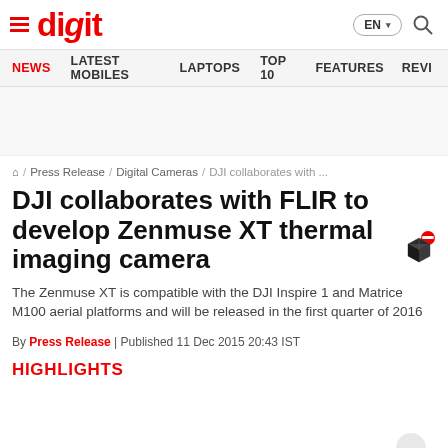digit — EN / Search
NEWS  LATEST MOBILES  LAPTOPS  TOP 10  FEATURES  REVI...
⌂ / Press Release / Digital Cameras / DJI collaborates with ...
DJI collaborates with FLIR to develop Zenmuse XT thermal imaging camera
The Zenmuse XT is compatible with the DJI Inspire 1 and Matrice M100 aerial platforms and will be released in the first quarter of 2016
By Press Release | Published 11 Dec 2015 20:43 IST
HIGHLIGHTS